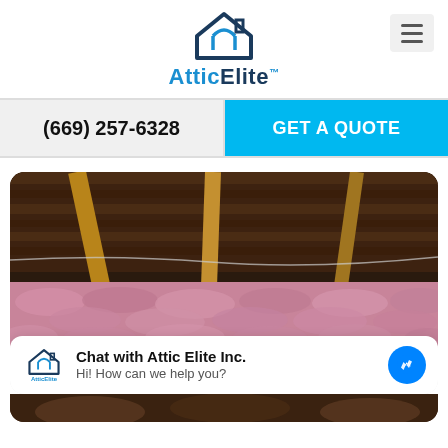[Figure (logo): AtticElite logo with house icon in dark blue and brand name in blue/dark blue]
[Figure (screenshot): Hamburger menu button (three horizontal lines) in a grey rounded box]
(669) 257-6328
GET A QUOTE
[Figure (photo): Attic interior showing wooden beams, rafters, and pink fiberglass insulation with a wire running across]
Chat with Attic Elite Inc.
Hi! How can we help you?